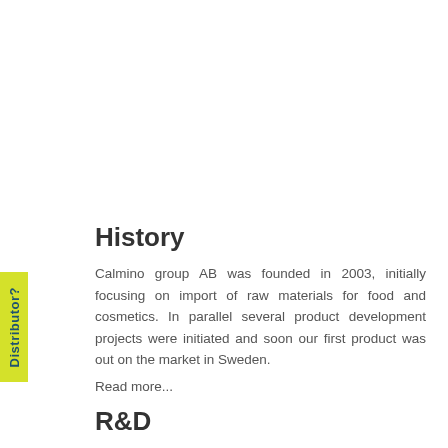History
Calmino group AB was founded in 2003, initially focusing on import of raw materials for food and cosmetics. In parallel several product development projects were initiated and soon our first product was out on the market in Sweden.
Read more...
R&D